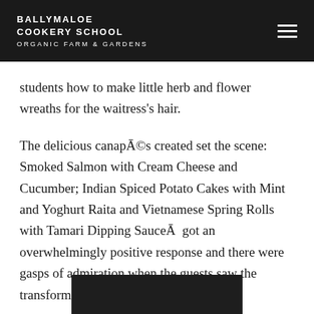BALLYMALOE COOKERY SCHOOL ORGANIC FARM & GARDENS
students how to make little herb and flower wreaths for the waitress's hair.
The delicious canapés created set the scene: Smoked Salmon with Cream Cheese and Cucumber; Indian Spiced Potato Cakes with Mint and Yoghurt Raita and Vietnamese Spring Rolls with Tamari Dipping Sauce  got an overwhelmingly positive response and there were gasps of admiration when the guests saw the transformation of the Cafe.
[Figure (photo): Bottom portion of a dark/black image, partially cropped at the bottom of the page]